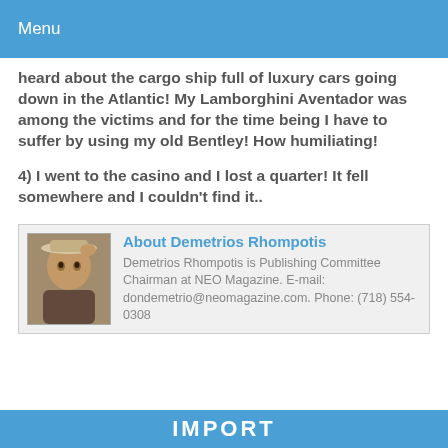Menu
heard about the cargo ship full of luxury cars going down in the Atlantic! My Lamborghini Aventador was among the victims and for the time being I have to suffer by using my old Bentley! How humiliating!
4) I went to the casino and I lost a quarter! It fell somewhere and I couldn't find it..
About Demetrios Rhompotis
Demetrios Rhompotis is Publishing Committee Chairman at NEO Magazine. E-mail: dondemetrio@neomagazine.com. Phone: (718) 554-0308
IMPORT